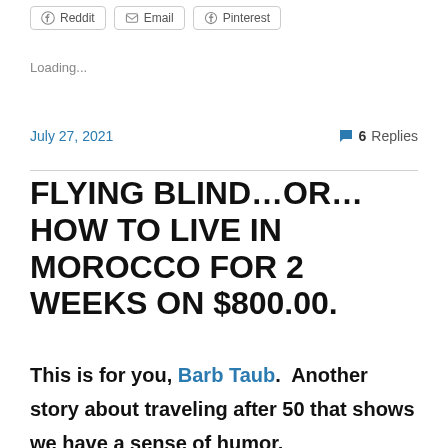Reddit  Email  Pinterest
Loading...
July 27, 2021    💬 6 Replies
FLYING BLIND…OR… HOW TO LIVE IN MOROCCO FOR 2 WEEKS ON $800.00.
This is for you, Barb Taub.  Another story about traveling after 50 that shows we have a sense of humor.